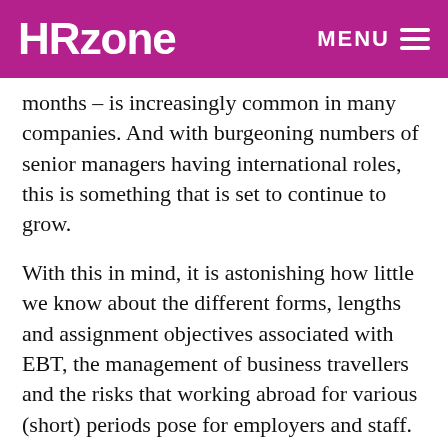HRzone  MENU
months – is increasingly common in many companies. And with burgeoning numbers of senior managers having international roles, this is something that is set to continue to grow.
With this in mind, it is astonishing how little we know about the different forms, lengths and assignment objectives associated with EBT, the management of business travellers and the risks that working abroad for various (short) periods pose for employers and staff.
The RES Forum's 2018 Annual Report into global mobility trends (which is based on research amongst the Forum's 1600+ members from over 750...